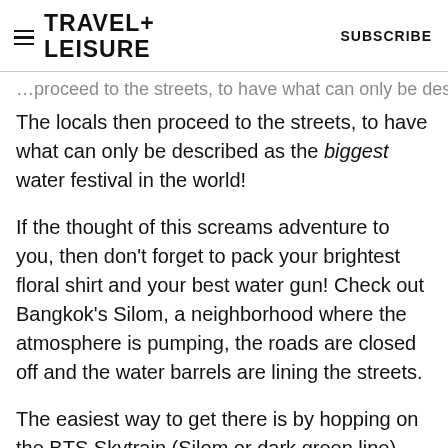TRAVEL+ LEISURE   SUBSCRIBE
The locals then proceed to the streets, to have what can only be described as the biggest water festival in the world!
If the thought of this screams adventure to you, then don't forget to pack your brightest floral shirt and your best water gun! Check out Bangkok's Silom, a neighborhood where the atmosphere is pumping, the roads are closed off and the water barrels are lining the streets.
The easiest way to get there is by hopping on the BTS Skytrain (Silom or dark green line) and following